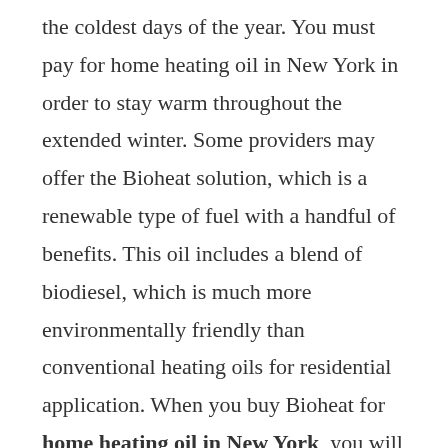the coldest days of the year. You must pay for home heating oil in New York in order to stay warm throughout the extended winter. Some providers may offer the Bioheat solution, which is a renewable type of fuel with a handful of benefits. This oil includes a blend of biodiesel, which is much more environmentally friendly than conventional heating oils for residential application. When you buy Bioheat for home heating oil in New York, you will also use a significant mixture of low-sulfur fuel, which has low emissions. Therefore, you'll enjoy the benefits of a clean-burning fuel throughout the entire winter at your house.